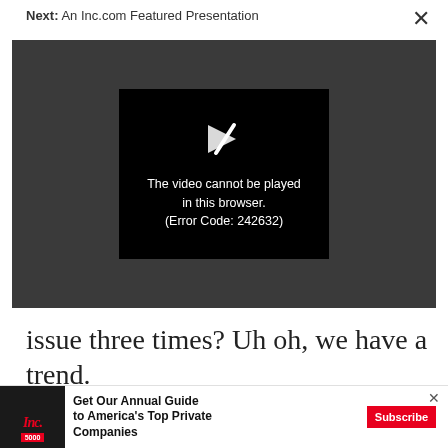Next: An Inc.com Featured Presentation
[Figure (screenshot): Video player showing error message: 'The video cannot be played in this browser. (Error Code: 242632)' on a dark gray background with a black error box containing a broken video icon.]
issue three times? Uh oh, we have a trend.
If you hear the same objection three times or more
[Figure (other): Advertisement banner for Inc.com Annual Guide to America's Top Private Companies with Subscribe button. Shows Inc. 5000 magazine cover on left.]